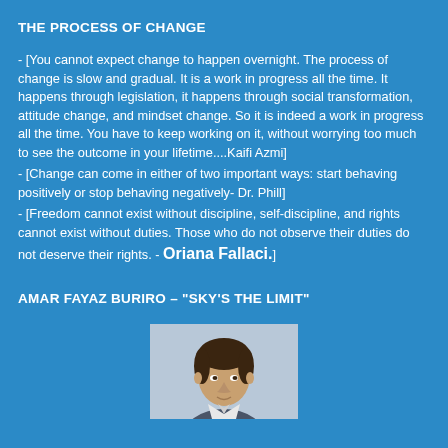THE PROCESS OF CHANGE
- [You cannot expect change to happen overnight. The process of change is slow and gradual. It is a work in progress all the time. It happens through legislation, it happens through social transformation, attitude change, and mindset change. So it is indeed a work in progress all the time. You have to keep working on it, without worrying too much to see the outcome in your lifetime....Kaifi Azmi]
- [Change can come in either of two important ways: start behaving positively or stop behaving negatively- Dr. Phill]
- [Freedom cannot exist without discipline, self-discipline, and rights cannot exist without duties. Those who do not observe their duties do not deserve their rights. - Oriana Fallaci.]
AMAR FAYAZ BURIRO – "SKY'S THE LIMIT"
[Figure (photo): Portrait photo of a man (Amar Fayaz Buriro), partially visible at bottom of page, showing head and shoulders against a light background.]